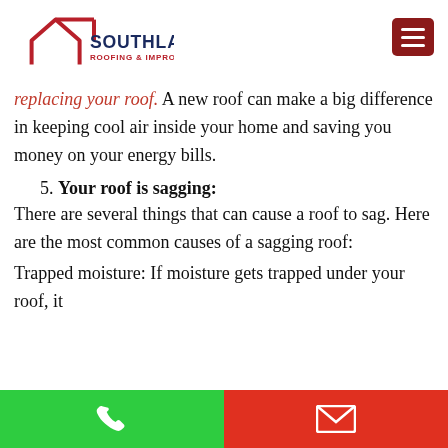[Figure (logo): Southland Roofing & Improvement logo with red house outline and dark navy text]
replacing your roof. A new roof can make a big difference in keeping cool air inside your home and saving you money on your energy bills.
5. Your roof is sagging:
There are several things that can cause a roof to sag. Here are the most common causes of a sagging roof:
Trapped moisture: If moisture gets trapped under your roof, it [ards] roof to sag.
[Figure (infographic): Bottom navigation bar with green phone call button and red email button]